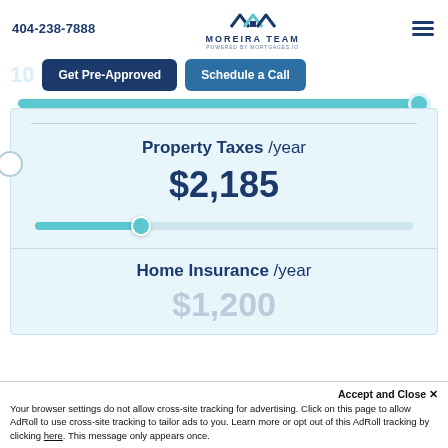404-238-7888 | Moreira Team | Powered by Mortgages.io
Get Pre-Approved | Schedule a Call
[Figure (screenshot): Mortgage calculator UI showing a slider bar and property taxes section with value $2,185 per year, and a home insurance section showing $1,200 per year, with interactive sliders]
Property Taxes / year
$2,185
Home Insurance / year
$1,200
Accept and Close ✕
Your browser settings do not allow cross-site tracking for advertising. Click on this page to allow AdRoll to use cross-site tracking to tailor ads to you. Learn more or opt out of this AdRoll tracking by clicking here. This message only appears once.